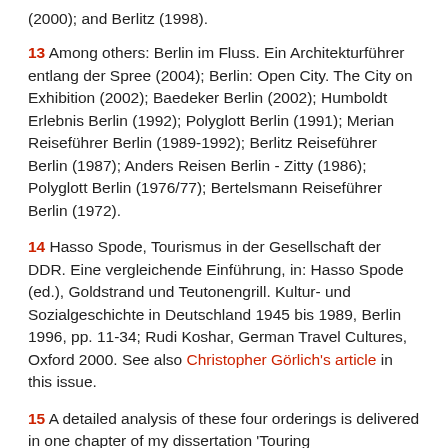(2000); and Berlitz (1998).
13 Among others: Berlin im Fluss. Ein Architekturführer entlang der Spree (2004); Berlin: Open City. The City on Exhibition (2002); Baedeker Berlin (2002); Humboldt Erlebnis Berlin (1992); Polyglott Berlin (1991); Merian Reiseführer Berlin (1989-1992); Berlitz Reiseführer Berlin (1987); Anders Reisen Berlin - Zitty (1986); Polyglott Berlin (1976/77); Bertelsmann Reiseführer Berlin (1972).
14 Hasso Spode, Tourismus in der Gesellschaft der DDR. Eine vergleichende Einführung, in: Hasso Spode (ed.), Goldstrand und Teutonengrill. Kultur- und Sozialgeschichte in Deutschland 1945 bis 1989, Berlin 1996, pp. 11-34; Rudi Koshar, German Travel Cultures, Oxford 2000. See also Christopher Görlich's article in this issue.
15 A detailed analysis of these four orderings is delivered in one chapter of my dissertation 'Touring